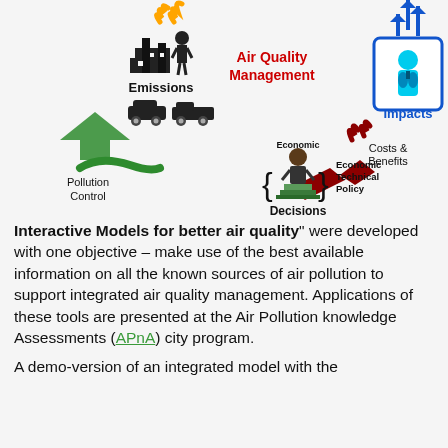[Figure (infographic): Air Quality Management cycle diagram showing: Emissions (factories, cars) at top center with orange smoke arrows going up, connected by green arrows to Pollution Control at left, which feeds into Decisions (Economic Technical Policy) in the center-bottom shown as a figure on a podium with curly braces, with dark red arrows from Costs & Benefits (top right) flowing into Decisions, and blue arrows at top right pointing down toward Impacts (human figure in blue box with respiratory system illustration).]
Interactive Models for better air quality" were developed with one objective – make use of the best available information on all the known sources of air pollution to support integrated air quality management. Applications of these tools are presented at the Air Pollution knowledge Assessments (APnA) city program.
A demo-version of an integrated model with the